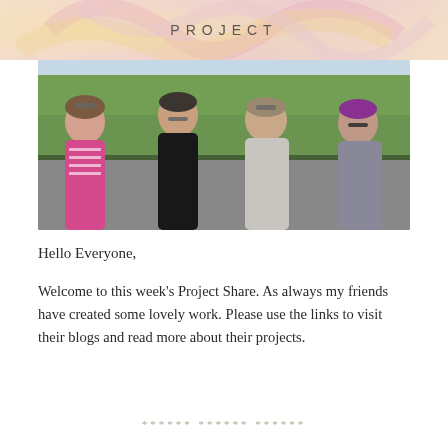PROJECT
[Figure (photo): Four women standing together outdoors in front of trees and greenery. From left: woman in pink striped top with sunglasses on head; woman in black top wearing glasses; woman in grey top with sunglasses on head; woman in black and white gingham top with short purple hair wearing glasses.]
Hello Everyone,
Welcome to this week's Project Share. As always my friends have created some lovely work. Please use the links to visit their blogs and read more about their projects.
****** ****** ******